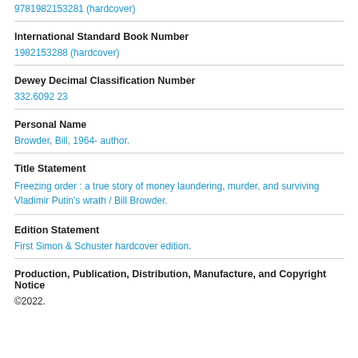9781982153281 (hardcover)
International Standard Book Number
1982153288 (hardcover)
Dewey Decimal Classification Number
332.6092 23
Personal Name
Browder, Bill, 1964- author.
Title Statement
Freezing order : a true story of money laundering, murder, and surviving Vladimir Putin's wrath / Bill Browder.
Edition Statement
First Simon & Schuster hardcover edition.
Production, Publication, Distribution, Manufacture, and Copyright Notice
©2022.